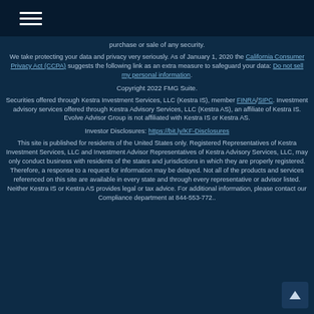☰ (hamburger menu icon)
purchase or sale of any security.
We take protecting your data and privacy very seriously. As of January 1, 2020 the California Consumer Privacy Act (CCPA) suggests the following link as an extra measure to safeguard your data: Do not sell my personal information.
Copyright 2022 FMG Suite.
Securities offered through Kestra Investment Services, LLC (Kestra IS), member FINRA/SIPC. Investment advisory services offered through Kestra Advisory Services, LLC (Kestra AS), an affiliate of Kestra IS. Evolve Advisor Group is not affiliated with Kestra IS or Kestra AS.
Investor Disclosures: https://bit.ly/KF-Disclosures
This site is published for residents of the United States only. Registered Representatives of Kestra Investment Services, LLC and Investment Advisor Representatives of Kestra Advisory Services, LLC, may only conduct business with residents of the states and jurisdictions in which they are properly registered. Therefore, a response to a request for information may be delayed. Not all of the products and services referenced on this site are available in every state and through every representative or advisor listed. Neither Kestra IS or Kestra AS provides legal or tax advice. For additional information, please contact our Compliance department at 844-553-772..